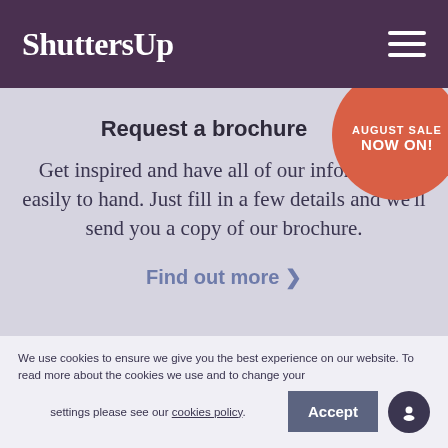ShuttersUp
Request a brochure
[Figure (infographic): Orange circular badge with text 'AUGUST SALE NOW ON!']
Get inspired and have all of our information easily to hand. Just fill in a few details and we'll send you a copy of our brochure.
Find out more >
We use cookies to ensure we give you the best experience on our website. To read more about the cookies we use and to change your settings please see our cookies policy.